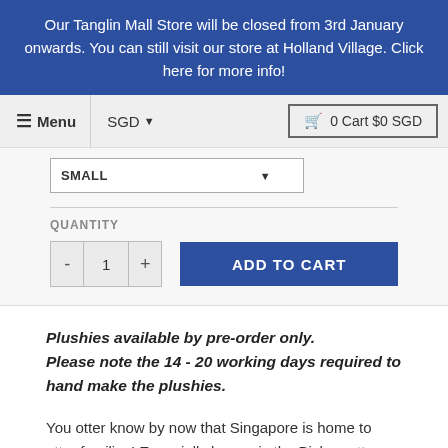Our Tanglin Mall Store will be closed from 3rd January onwards. You can still visit our store at Holland Village. Click here for more info!
Menu | SGD | 0 Cart $0 SGD
SMALL (dropdown)
QUANTITY
- 1 + ADD TO CART
Plushies available by pre-order only.
Please note the 14 - 20 working days required to hand make the plushies.
You otter know by now that Singapore is home to otter families! Especially known is the Bishan otter family, first spotted at Bishan-Ang Mo Kio Park in 2014. Because of